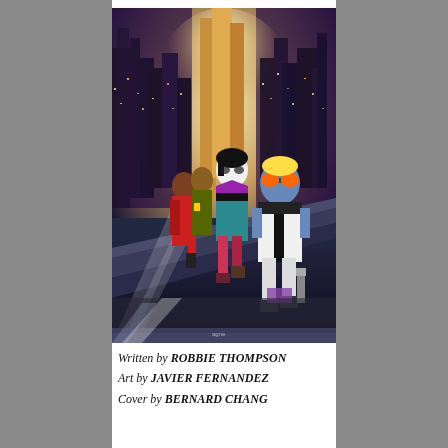[Figure (illustration): Comic book cover art showing four superhero characters sitting on the edge of a rooftop or structure with a glowing night cityscape behind them. Characters include a person in red outfit, a figure in black with white face paint and teal/black costume, a blue-skinned figure in white suit with orange goggles, and another character partially visible.]
Written by ROBBIE THOMPSON
Art by JAVIER FERNANDEZ
Cover by BERNARD CHANG